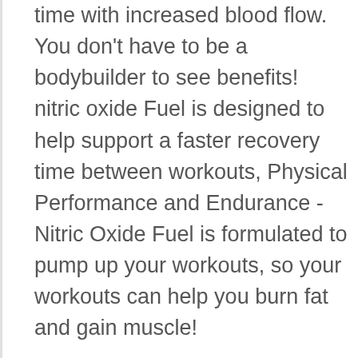time with increased blood flow. You don't have to be a bodybuilder to see benefits! nitric oxide Fuel is designed to help support a faster recovery time between workouts, Physical Performance and Endurance - Nitric Oxide Fuel is formulated to pump up your workouts, so your workouts can help you burn fat and gain muscle!
Nitric Oxide Fuel N.1 Effective Booster male enhancement increase Energy, Stamina, Size, Physical Performance Extra Natural Libido boost formula Increase Performance 90 Caps #ad - 30-day 100% money back